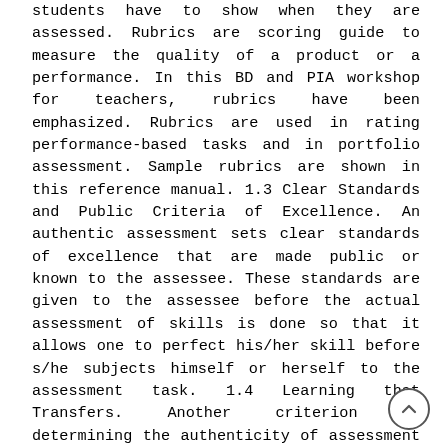students have to show when they are assessed. Rubrics are scoring guide to measure the quality of a product or a performance. In this BD and PIA workshop for teachers, rubrics have been emphasized. Rubrics are used in rating performance-based tasks and in portfolio assessment. Sample rubrics are shown in this reference manual. 1.3 Clear Standards and Public Criteria of Excellence. An authentic assessment sets clear standards of excellence that are made public or known to the assessee. These standards are given to the assessee before the actual assessment of skills is done so that it allows one to perfect his/her skill before s/he subjects himself or herself to the assessment task. 1.4 Learning that Transfers. Another criterion in determining the authenticity of assessment is the ability of the task to capture skills learned that could be transferred to other situations outside the classroom or beyond the school. Life is not confined only in the classroom. The classroom should be viewed as the venue for the students to perform the skills required by their actual world which is bigger than the classroom. 1.5 Positive Interaction between the Assessee and the Assessor. An authentic assessment allows the assessee to interact with the assessor by receiving quality